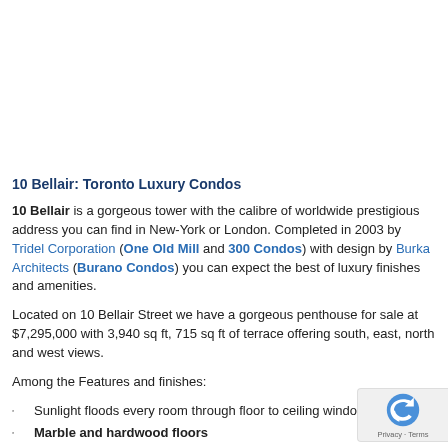10 Bellair: Toronto Luxury Condos
10 Bellair is a gorgeous tower with the calibre of worldwide prestigious address you can find in New-York or London. Completed in 2003 by Tridel Corporation (One Old Mill and 300 Condos) with design by Burka Architects (Burano Condos) you can expect the best of luxury finishes and amenities.
Located on 10 Bellair Street we have a gorgeous penthouse for sale at $7,295,000 with 3,940 sq ft, 715 sq ft of terrace offering south, east, north and west views.
Among the Features and finishes:
Sunlight floods every room through floor to ceiling windows.
Marble and hardwood floors